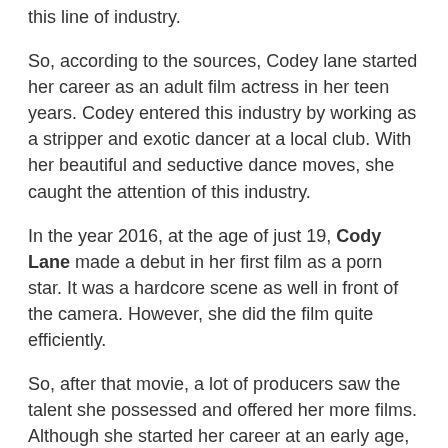this line of industry.
So, according to the sources, Codey lane started her career as an adult film actress in her teen years. Codey entered this industry by working as a stripper and exotic dancer at a local club. With her beautiful and seductive dance moves, she caught the attention of this industry.
In the year 2016, at the age of just 19, Cody Lane made a debut in her first film as a porn star. It was a hardcore scene as well in front of the camera. However, she did the film quite efficiently.
So, after that movie, a lot of producers saw the talent she possessed and offered her more films. Although she started her career at an early age, her enthusiasm and willingness to do the hardcore scenes paved the way for her to get the fame that she loved to enjoy for years to